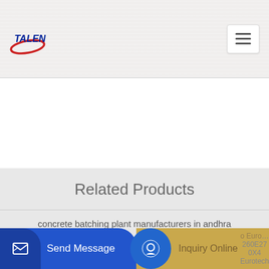[Figure (logo): Talenet company logo with blue text and red oval swoosh]
Related Products
concrete batching plant manufacturers in andhra
New and used asphalt plants damaged from France sales
Send Message
Inquiry Online